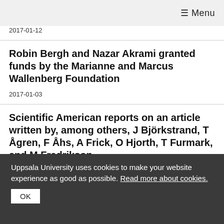☰ Menu
2017-01-12
Robin Bergh and Nazar Akrami granted funds by the Marianne and Marcus Wallenberg Foundation
2017-01-03
Scientific American reports on an article written by, among others, J Björkstrand, T Ågren, F Åhs, A Frick, O Hjorth, T Furmark, and M Fredrikson
2016-12-21
Uppsala University uses cookies to make your website experience as good as possible. Read more about cookies.